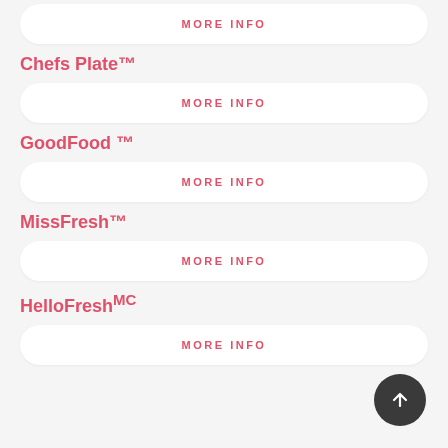MORE INFO
Chefs Plate™
MORE INFO
GoodFood ™
MORE INFO
MissFresh™
MORE INFO
HelloFresh MC
MORE INFO